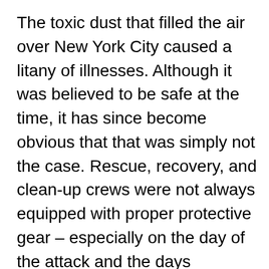The toxic dust that filled the air over New York City caused a litany of illnesses. Although it was believed to be safe at the time, it has since become obvious that that was simply not the case. Rescue, recovery, and clean-up crews were not always equipped with proper protective gear – especially on the day of the attack and the days immediately after 9/11. This put these individuals at especially high risk, with hours of constant exposure to the toxic